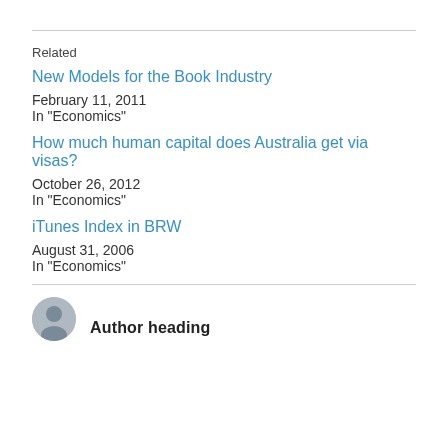Related
New Models for the Book Industry
February 11, 2011
In "Economics"
How much human capital does Australia get via visas?
October 26, 2012
In "Economics"
iTunes Index in BRW
August 31, 2006
In "Economics"
Author heading